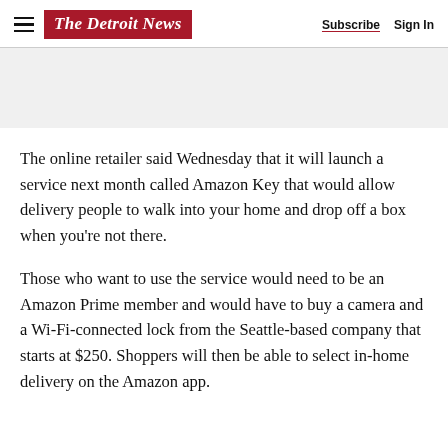The Detroit News — Subscribe  Sign In
The online retailer said Wednesday that it will launch a service next month called Amazon Key that would allow delivery people to walk into your home and drop off a box when you're not there.
Those who want to use the service would need to be an Amazon Prime member and would have to buy a camera and a Wi-Fi-connected lock from the Seattle-based company that starts at $250. Shoppers will then be able to select in-home delivery on the Amazon app.